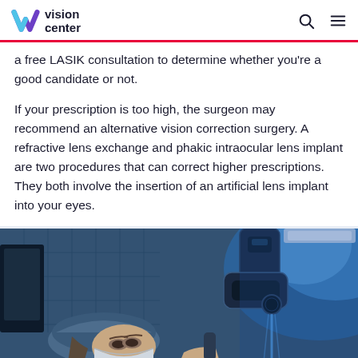vision center
a free LASIK consultation to determine whether you're a good candidate or not.
If your prescription is too high, the surgeon may recommend an alternative vision correction surgery. A refractive lens exchange and phakic intraocular lens implant are two procedures that can correct higher prescriptions. They both involve the insertion of an artificial lens implant into your eyes.
[Figure (photo): A medical professional wearing a surgical cap and mask operates an eye surgery laser machine in a clinical setting with blue lighting.]